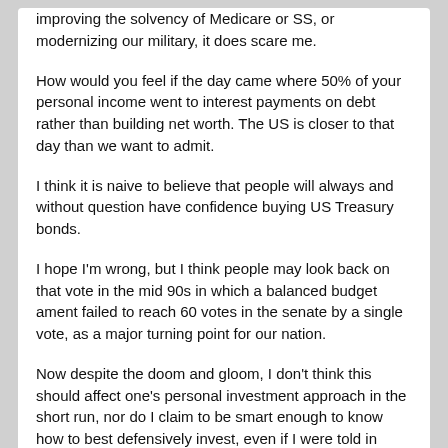improving the solvency of Medicare or SS, or modernizing our military, it does scare me.

How would you feel if the day came where 50% of your personal income went to interest payments on debt rather than building net worth. The US is closer to that day than we want to admit.

I think it is naive to believe that people will always and without question have confidence buying US Treasury bonds.

I hope I'm wrong, but I think people may look back on that vote in the mid 90s in which a balanced budget ament failed to reach 60 votes in the senate by a single vote, as a major turning point for our nation.

Now despite the doom and gloom, I don't think this should affect one's personal investment approach in the short run, nor do I claim to be smart enough to know how to best defensively invest, even if I were told in advance when/if the crisis would hit.
Zaphod
Physician